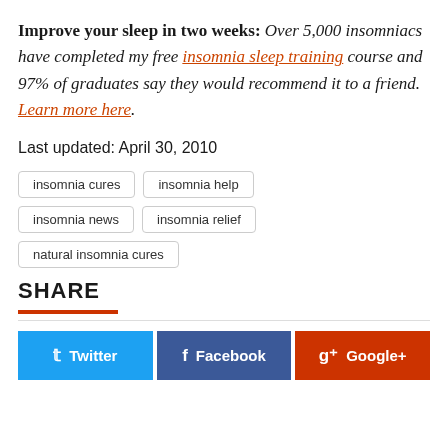Improve your sleep in two weeks: Over 5,000 insomniacs have completed my free insomnia sleep training course and 97% of graduates say they would recommend it to a friend. Learn more here.
Last updated: April 30, 2010
insomnia cures
insomnia help
insomnia news
insomnia relief
natural insomnia cures
SHARE
Twitter | Facebook | Google+